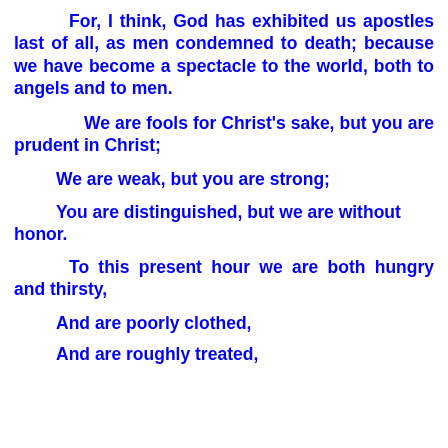For, I think, God has exhibited us apostles last of all, as men condemned to death; because we have become a spectacle to the world, both to angels and to men.
We are fools for Christ's sake, but you are prudent in Christ;
We are weak, but you are strong;
You are distinguished, but we are without honor.
To this present hour we are both hungry and thirsty,
And are poorly clothed,
And are roughly treated,